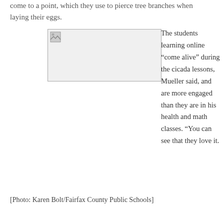come to a point, which they use to pierce tree branches when laying their eggs.
[Figure (photo): Photo placeholder image of cicada-related educational content]
[Photo: Karen Bolt/Fairfax County Public Schools]
The students learning online “come alive” during the cicada lessons, Mueller said, and are more engaged than they are in his health and math classes. “You can see that they love it.